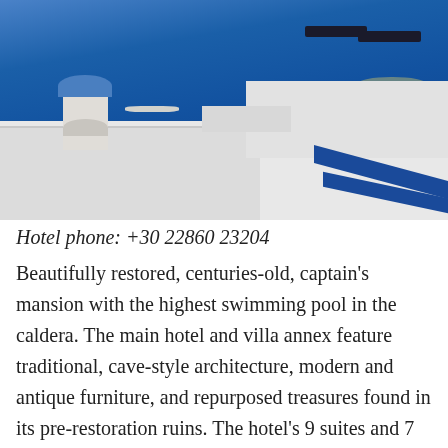[Figure (photo): Aerial view of white Santorini buildings with a blue-domed bell tower and terrace with lounge chairs overlooking the caldera sea with islands in the background.]
Hotel phone: +30 22860 23204
Beautifully restored, centuries-old, captain's mansion with the highest swimming pool in the caldera. The main hotel and villa annex feature traditional, cave-style architecture, modern and antique furniture, and repurposed treasures found in its pre-restoration ruins. The hotel's 9 suites and 7